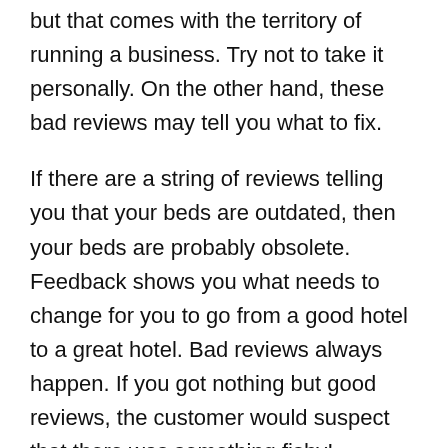but that comes with the territory of running a business. Try not to take it personally. On the other hand, these bad reviews may tell you what to fix.
If there are a string of reviews telling you that your beds are outdated, then your beds are probably obsolete. Feedback shows you what needs to change for you to go from a good hotel to a great hotel. Bad reviews always happen. If you got nothing but good reviews, the customer would suspect that there was something fishy!